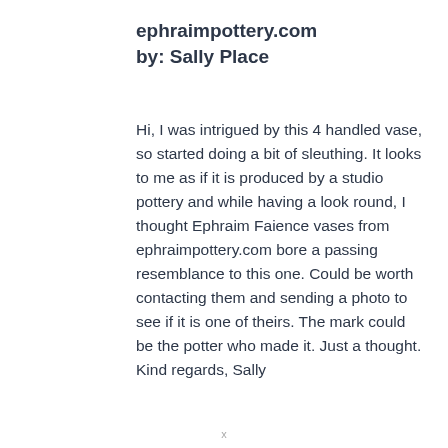ephraimpottery.com
by: Sally Place
Hi, I was intrigued by this 4 handled vase, so started doing a bit of sleuthing. It looks to me as if it is produced by a studio pottery and while having a look round, I thought Ephraim Faience vases from ephraimpottery.com bore a passing resemblance to this one. Could be worth contacting them and sending a photo to see if it is one of theirs. The mark could be the potter who made it. Just a thought. Kind regards, Sally
×